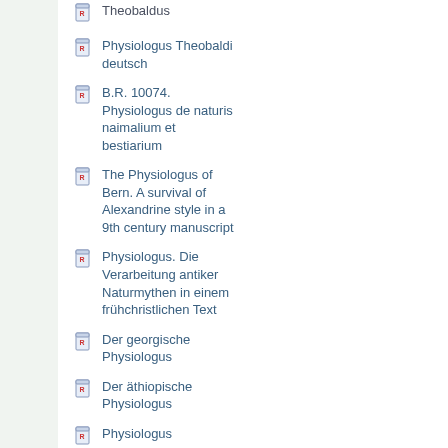Physiologus Theobaldi deutsch
B.R. 10074. Physiologus de naturis naimalium et bestiarium
The Physiologus of Bern. A survival of Alexandrine style in a 9th century manuscript
Physiologus. Die Verarbeitung antiker Naturmythen in einem frühchristlichen Text
Der georgische Physiologus
Der äthiopische Physiologus
Physiologus
Physiologus
El Fisiólogo atribuido a